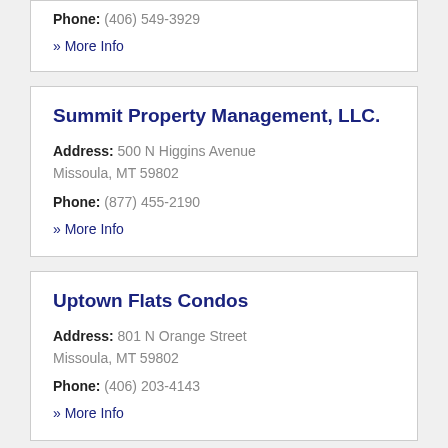Phone: (406) 549-3929
» More Info
Summit Property Management, LLC.
Address: 500 N Higgins Avenue Missoula, MT 59802
Phone: (877) 455-2190
» More Info
Uptown Flats Condos
Address: 801 N Orange Street Missoula, MT 59802
Phone: (406) 203-4143
» More Info